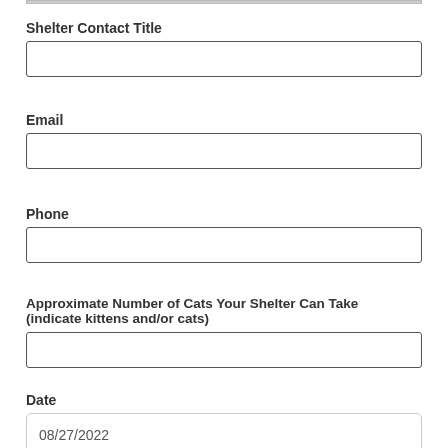Shelter Contact Title
Email
Phone
Approximate Number of Cats Your Shelter Can Take (indicate kittens and/or cats)
Date
08/27/2022